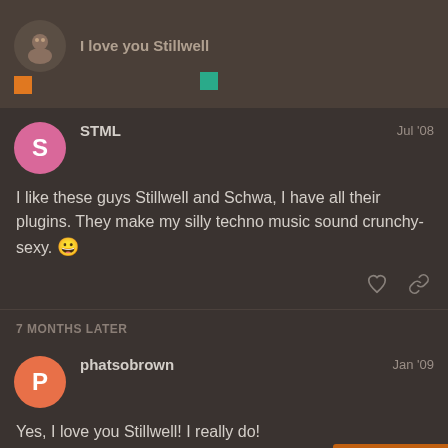I love you Stillwell
STML  Jul '08
I like these guys Stillwell and Schwa, I have all their plugins. They make my silly techno music sound crunchy-sexy. 😀
7 MONTHS LATER
phatsobrown  Jan '09
Yes, I love you Stillwell! I really do!
13 / 17